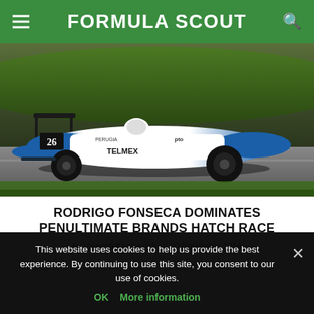FORMULA SCOUT
[Figure (photo): A white and blue Formula racing car with number 26, sponsored by TELMEX, PERUGIA, pto, and other brands, racing on a circuit with green grass in the background.]
RODRIGO FONSECA DOMINATES PENULTIMATE BRANDS HATCH RACE
by Valentin Khorounzhiy | 30 November 2014
This website uses cookies to help us provide the best experience. By continuing to use this site, you consent to our use of cookies.
OK   More information